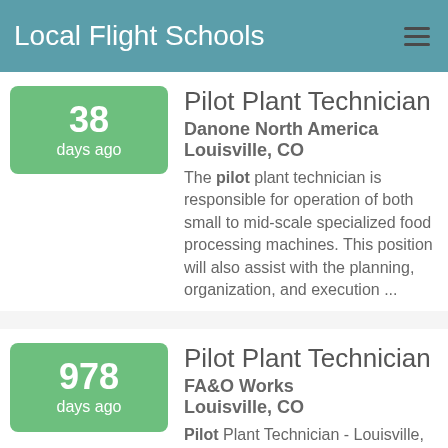Local Flight Schools
38 days ago
Pilot Plant Technician
Danone North America
Louisville, CO
The pilot plant technician is responsible for operation of both small to mid-scale specialized food processing machines. This position will also assist with the planning, organization, and execution ...
978 days ago
Pilot Plant Technician
FA&O Works
Louisville, CO
Pilot Plant Technician - Louisville, CO Our client is a global multi-billion dollar Consumer Packaged Goods company,